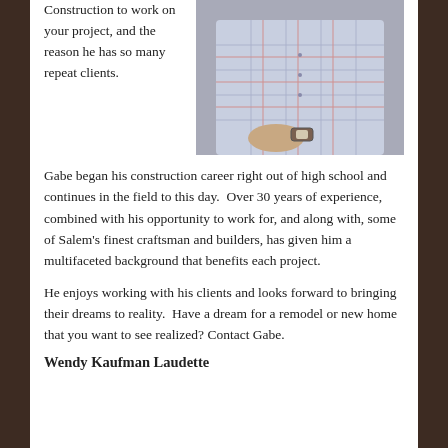Construction to work on your project, and the reason he has so many repeat clients.
[Figure (photo): Photo of a man in a plaid flannel shirt, seated, wearing a watch, viewed from the torso down.]
Gabe began his construction career right out of high school and continues in the field to this day.  Over 30 years of experience, combined with his opportunity to work for, and along with, some of Salem’s finest craftsman and builders, has given him a multifaceted background that benefits each project.
He enjoys working with his clients and looks forward to bringing their dreams to reality.  Have a dream for a remodel or new home that you want to see realized? Contact Gabe.
Wendy Kaufman Laudette